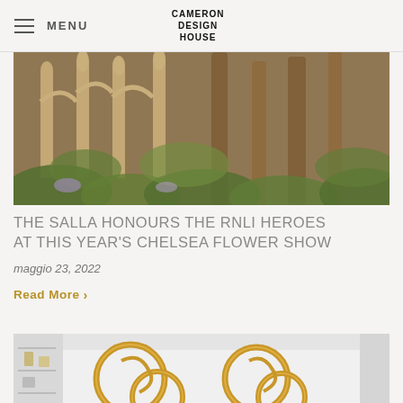MENU — CAMERON DESIGN HOUSE
[Figure (photo): Outdoor garden scene with stone arched colonnade, tall tree trunks, lush green foliage and flowering plants, warm golden lighting]
THE SALLA HONOURS THE RNLI HEROES AT THIS YEAR'S CHELSEA FLOWER SHOW
maggio 23, 2022
Read More >
[Figure (photo): Interior luxury showroom or hotel lobby with large sculptural gold ring pendant light fixtures hanging from the ceiling, white walls with display shelving]